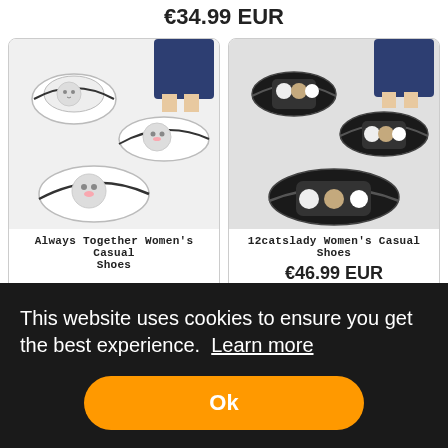€34.99 EUR
[Figure (photo): Always Together Women's Casual Shoes product image showing cat-themed slip-on shoes in white]
Always Together Women's Casual Shoes
[Figure (photo): 12catslady Women's Casual Shoes product image showing cat-themed slip-on shoes in black]
12catslady Women's Casual Shoes
€46.99 EUR
This website uses cookies to ensure you get the best experience.  Learn more
Ok